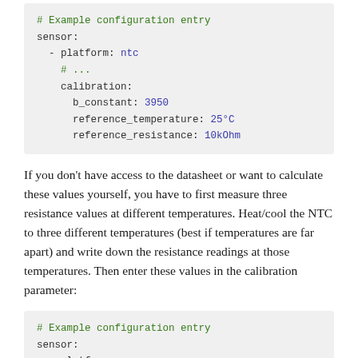[Figure (other): Code block showing example configuration entry with sensor platform ntc, calibration b_constant 3950, reference_temperature 25°C, reference_resistance 10kOhm]
If you don't have access to the datasheet or want to calculate these values yourself, you have to first measure three resistance values at different temperatures. Heat/cool the NTC to three different temperatures (best if temperatures are far apart) and write down the resistance readings at those temperatures. Then enter these values in the calibration parameter:
[Figure (other): Code block showing beginning of second example configuration entry with sensor: platform:]